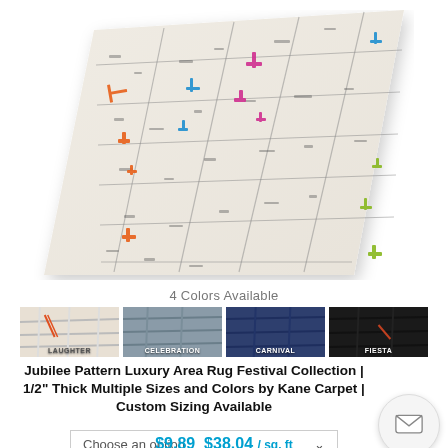[Figure (photo): Close-up photo of a luxury area rug with a grid/lattice pattern on a cream/ivory background with multicolored accent threads in orange, pink, blue, green colors. The rug is shown at an angle.]
4 Colors Available
[Figure (other): Four color swatch thumbnails labeled LAUGHTER (cream/beige with colored lines), CELEBRATION (gray-blue), CARNIVAL (dark navy), and FIESTA (very dark/black)]
Jubilee Pattern Luxury Area Rug Festival Collection | 1/2" Thick Multiple Sizes and Colors by Kane Carpet | Custom Sizing Available
Choose an option
$9.89  $38.04 / sq. ft